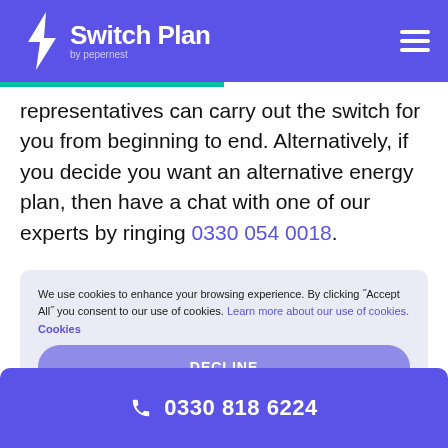Switch Plan by pepernest
representatives can carry out the switch for you from beginning to end. Alternatively, if you decide you want an alternative energy plan, then have a chat with one of our experts by ringing 0330 054 0018.
We use cookies to enhance your browsing experience. By clicking "Accept All" you consent to our use of cookies. Learn more about our use of cookies. Cookies
DECLINE
ACCEPT
0330 818 6224